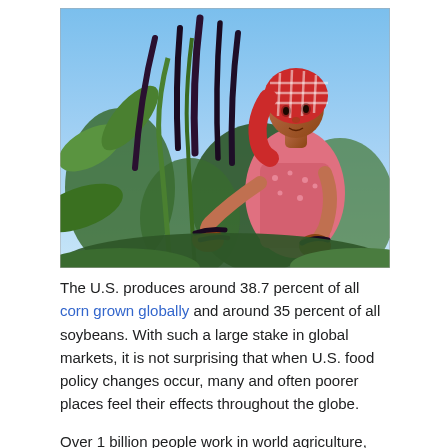[Figure (photo): A woman wearing a red and white checkered head covering and pink floral shirt harvesting long dark bean pods from green plants in a field, under a clear blue sky.]
The U.S. produces around 38.7 percent of all corn grown globally and around 35 percent of all soybeans. With such a large stake in global markets, it is not surprising that when U.S. food policy changes occur, many and often poorer places feel their effects throughout the globe.
Over 1 billion people work in world agriculture, and in poorer regions, a majority of the workforce population works in